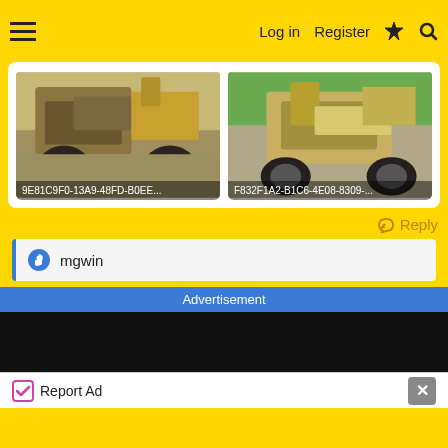Log in   Register
[Figure (photo): Photo of an old yellow/rusted riding lawn mower or garden tractor, front view, on a concrete driveway. Label: 9E81C9F0-13A9-48FD-B0EE...]
[Figure (photo): Photo of an old yellow/rusted riding lawn mower or garden tractor, side view, on a concrete driveway with grass visible. Label: F832F1A2-B1C6-4E08-8309-...]
Reply
mgwin
Advertisement
Report Ad